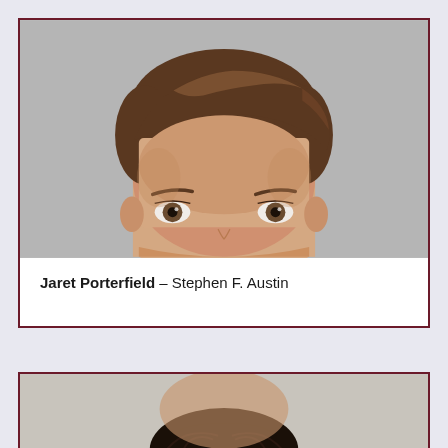[Figure (photo): Headshot of Jaret Porterfield, a young man with short brown hair, light complexion, looking straight ahead against a light gray background. Only the top portion of the face (forehead, eyes, and top of head with hair) is prominently visible.]
Jaret Porterfield – Stephen F. Austin
[Figure (photo): Partial headshot of another person, only the top of the head with dark hair visible at the bottom of the page.]